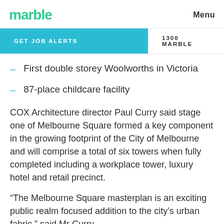marble | Menu
GET JOB ALERTS | 1300 MARBLE
First double storey Woolworths in Victoria
87-place childcare facility
COX Architecture director Paul Curry said stage one of Melbourne Square formed a key component in the growing footprint of the City of Melbourne and will comprise a total of six towers when fully completed including a workplace tower, luxury hotel and retail precinct.
â€œThe Melbourne Square masterplan is an exciting public realm focused addition to the cityâ€™s urban fabric,â€� said Mr Curry.